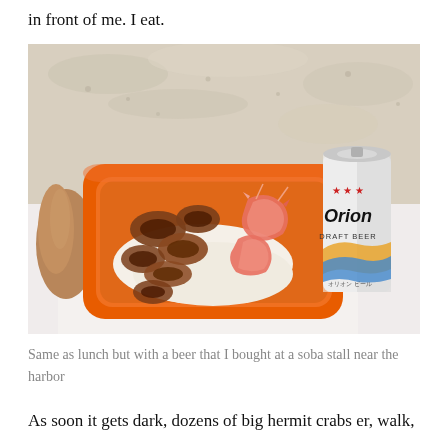in front of me. I eat.
[Figure (photo): A hand holding an orange plastic container with seafood (shrimp, squid rings, rice) on a sandy beach, next to an Orion Draft Beer can, set on a white cloth with sand in the background.]
Same as lunch but with a beer that I bought at a soba stall near the harbor
As soon it gets dark, dozens of big hermit crabs er, walk,